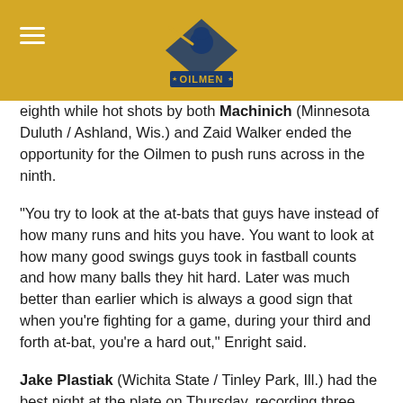Southland Oilmen
eighth while hot shots by both Machinich (Minnesota Duluth / Ashland, Wis.) and Zaid Walker ended the opportunity for the Oilmen to push runs across in the ninth.
“You try to look at the at-bats that guys have instead of how many runs and hits you have. You want to look at how many good swings guys took in fastball counts and how many balls they hit hard. Later was much better than earlier which is always a good sign that when you’re fighting for a game, during your third and forth at-bat, you’re a hard out,” Enright said.
Jake Plastiak (Wichita State / Tinley Park, Ill.) had the best night at the plate on Thursday, recording three hits, including two doubles, and an RBI.
The Oilmen will try to snap the two-game skid against the Crestwood Panthers on Friday night at Oil City Stadium. First